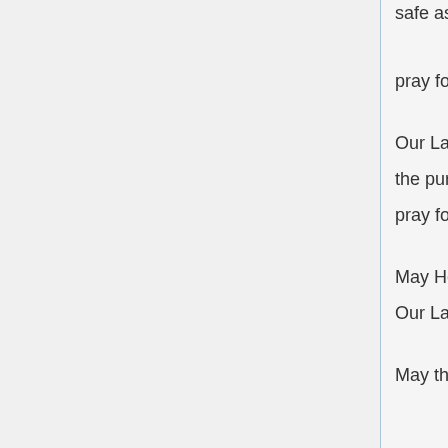safe asylum amid the dangers of the world,
pray for us.
Our Lady of the Sacred Heart,
the purest and loveliest of creatures,
pray for us.
May Heaven revere thee,
Our Lady of the Sacred Heart.
May the earth publish thy benefits,
Our Lady of the Sacred Heart.
May the young take refuge under thy virginal mantle,